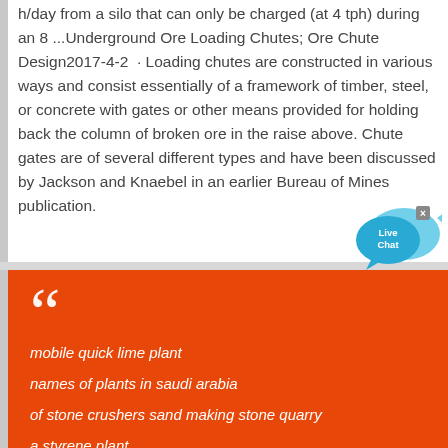h/day from a silo that can only be charged (at 4 tph) during an 8 ...Underground Ore Loading Chutes; Ore Chute Design2017-4-2 · Loading chutes are constructed in various ways and consist essentially of a framework of timber, steel, or concrete with gates or other means provided for holding back the column of broken ore in the raise above. Chute gates are of several different types and have been discussed by Jackson and Knaebel in an earlier Bureau of Mines publication.
[Figure (other): Live Chat speech bubble widget — two overlapping blue speech bubbles with 'Live Chat' text in white and an 'x' close button]
mobile quick lime plant
names of plants in saudi arabia
of stone crushers sand making stone quarry
a styrene plant